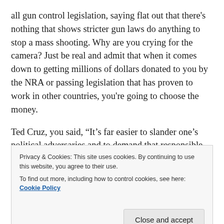all gun control legislation, saying flat out that there's nothing that shows stricter gun laws do anything to stop a mass shooting. Why are you crying for the camera? Just be real and admit that when it comes down to getting millions of dollars donated to you by the NRA or passing legislation that has proven to work in other countries, you're going to choose the money.
Ted Cruz, you said, “It’s far easier to slander one’s political adversaries and to demand that responsible citizens forfeit their constitutional rights than it is to examine the cultural sickness giving birth to
Privacy & Cookies: This site uses cookies. By continuing to use this website, you agree to their use.
To find out more, including how to control cookies, see here: Cookie Policy
inaccurate and misleading claims before finally getting